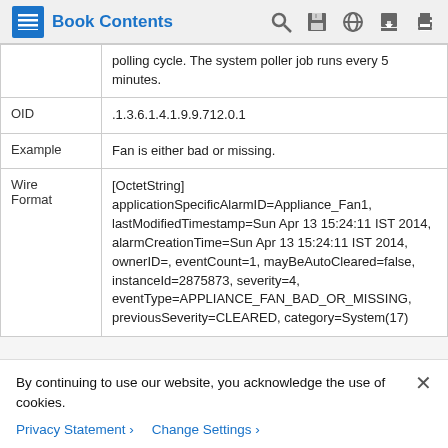Book Contents
|  | polling cycle. The system poller job runs every 5 minutes. |
| OID | .1.3.6.1.4.1.9.9.712.0.1 |
| Example | Fan is either bad or missing. |
| Wire Format | [OctetString] applicationSpecificAlarmID=Appliance_Fan1, lastModifiedTimestamp=Sun Apr 13 15:24:11 IST 2014, alarmCreationTime=Sun Apr 13 15:24:11 IST 2014, ownerID=, eventCount=1, mayBeAutoCleared=false, instanceId=2875873, severity=4, eventType=APPLIANCE_FAN_BAD_OR_MISSING, previousSeverity=CLEARED, category=System(17) |
By continuing to use our website, you acknowledge the use of cookies.
Privacy Statement   Change Settings